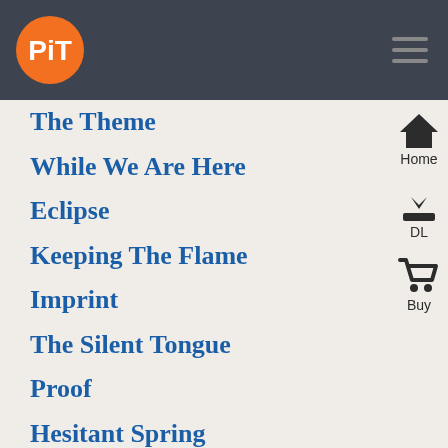PiT logo and navigation header
The Theme
While We Are Here
Eclipse
Keeping The Flame
Imprint
The Silent Tongue
Proof
Hesitant Spring
March Winds
The Sunflowe
Quietest Red
Speaking Of Which
Unseen, All Around